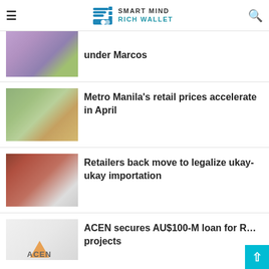Smart Mind Rich Wallet
under Marcos
Metro Manila's retail prices accelerate in April
Retailers back move to legalize ukay-ukay importation
ACEN secures AU$100-M loan for R... projects